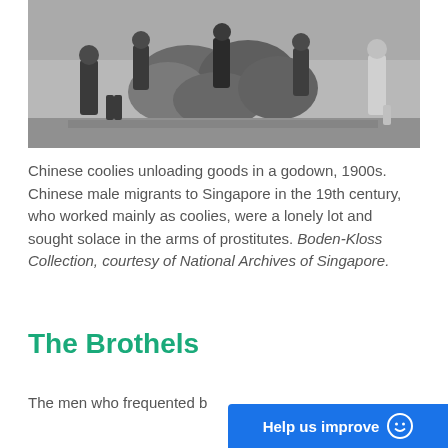[Figure (photo): Black and white historical photograph showing Chinese coolies unloading goods in a godown, 1900s. Several men are visible among large sacks/bales of goods.]
Chinese coolies unloading goods in a godown, 1900s. Chinese male migrants to Singapore in the 19th century, who worked mainly as coolies, were a lonely lot and sought solace in the arms of prostitutes. Boden-Kloss Collection, courtesy of National Archives of Singapore.
The Brothels
The men who frequented b...